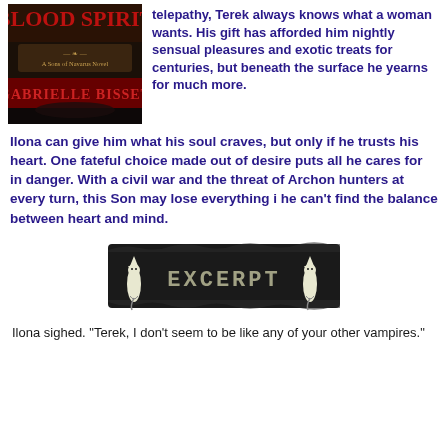[Figure (illustration): Book cover for 'Blood Spirit' by Gabrielle Bisset, a Sons of Navarus Novel. Dark cover with figures and gothic text.]
telepathy, Terek always knows what a woman wants. His gift has afforded him nightly sensual pleasures and exotic treats for centuries, but beneath the surface he yearns for much more.
Ilona can give him what his soul craves, but only if he trusts his heart. One fateful choice made out of desire puts all he cares for in danger. With a civil war and the threat of Archon hunters at every turn, this Son may lose everything i he can't find the balance between heart and mind.
[Figure (illustration): Black banner image with two white cat silhouettes on either side and the word EXCERPT in large block letters in the center.]
Ilona sighed. "Terek, I don't seem to be like any of your other vampires."